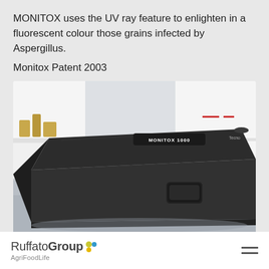MONITOX uses the UV ray feature to enlighten in a fluorescent colour those grains infected by Aspergillus.
Monitox Patent 2003
[Figure (photo): Photo of the MONITOX 1000 device — a black rectangular box with a label reading 'MONITOX 1000' on top and a small rectangular handle/slot on the front face, placed on a light grey surface with white shelving in the background.]
RuffatoGroup AgriFoodLife